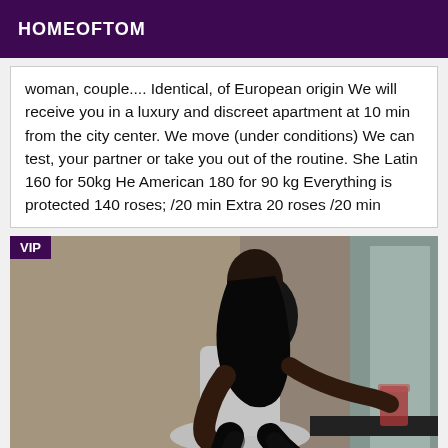HOMEOFTOM
woman, couple.... Identical, of European origin We will receive you in a luxury and discreet apartment at 10 min from the city center. We move (under conditions) We can test, your partner or take you out of the routine. She Latin 160 for 50kg He American 180 for 90 kg Everything is protected 140 roses; /20 min Extra 20 roses /20 min
[Figure (photo): A woman in a black outfit sitting on a white chair, leaning forward, with a glass on a table nearby. A VIP badge is shown in the top left corner.]